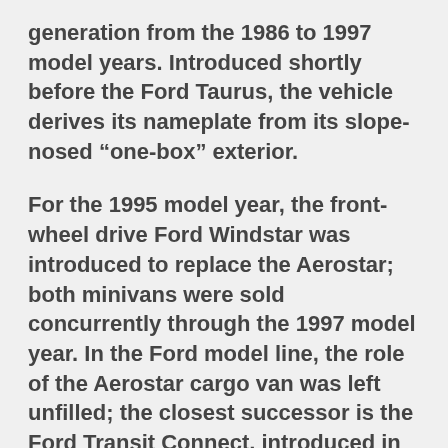generation from the 1986 to 1997 model years. Introduced shortly before the Ford Taurus, the vehicle derives its nameplate from its slope-nosed “one-box” exterior.
For the 1995 model year, the front-wheel drive Ford Windstar was introduced to replace the Aerostar; both minivans were sold concurrently through the 1997 model year. In the Ford model line, the role of the Aerostar cargo van was left unfilled; the closest successor is the Ford Transit Connect, introduced in 2010.